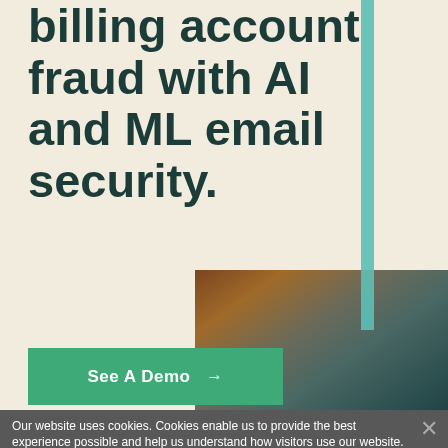billing account fraud with AI and ML email security.
[Figure (illustration): Green 'See A Demo →' call-to-action button on a cream background]
[Figure (photo): Split-face portrait of a woman — left half natural, right half rendered in teal digital/AI style]
Our website uses cookies. Cookies enable us to provide the best experience possible and help us understand how visitors use our website. By browsing bankinfosecurity.co.uk, you agree to our use of cookies.